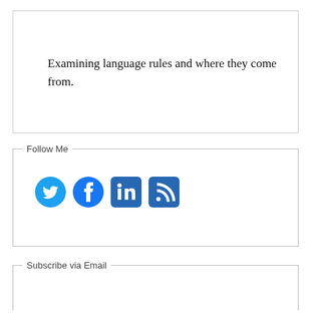Examining language rules and where they come from.
Follow Me
[Figure (infographic): Social media icons: Twitter (bird), Facebook (f), LinkedIn (in), RSS feed icon, all in blue]
Subscribe via Email